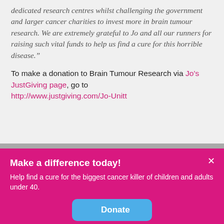dedicated research centres whilst challenging the government and larger cancer charities to invest more in brain tumour research. We are extremely grateful to Jo and all our runners for raising such vital funds to help us find a cure for this horrible disease.”
To make a donation to Brain Tumour Research via Jo’s JustGiving page, go to http://www.justgiving.com/Jo-Unitt
Make a difference today!
Help find a cure for the biggest cancer killer of children and adults under 40.